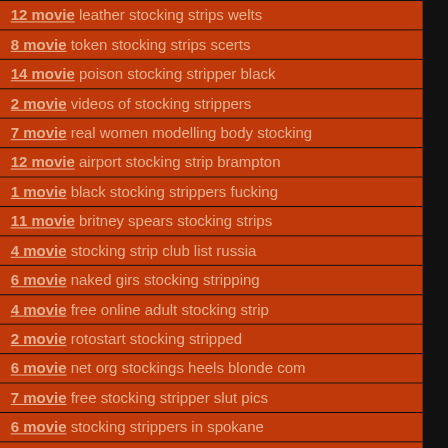12 movie leather stocking strips welts
8 movie token stocking strips scerts
14 movie poison stocking stripper black
2 movie videos of stocking strippers
7 movie real women modelling body stocking
12 movie airport stocking strip brampton
1 movie black stocking strippers fucking
11 movie britney spears stocking strips
4 movie stocking strip club list russia
6 movie naked girs stocking stripping
4 movie free online adult stocking strip
2 movie rotostart stocking stripped
6 movie net org stockings heels blonde com
7 movie free stocking stripper slut pics
6 movie stocking strippers in spokane
13 movie male stocking stripper knoxville